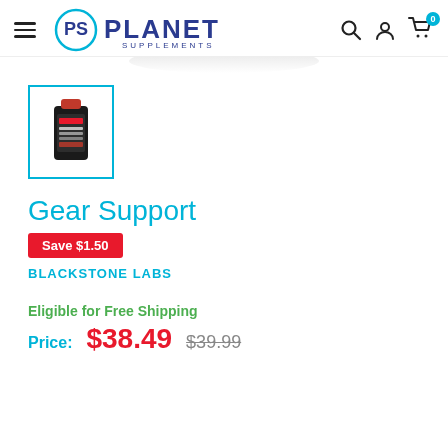Planet Supplements
[Figure (photo): Product thumbnail of Gear Support supplement bottle in a teal-bordered box]
Gear Support
Save $1.50
BLACKSTONE LABS
Eligible for Free Shipping
Price: $38.49  $39.99